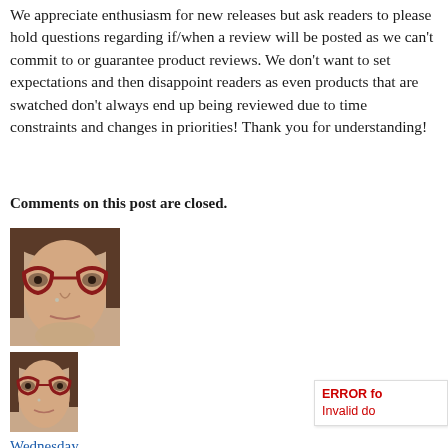We appreciate enthusiasm for new releases but ask readers to please hold questions regarding if/when a review will be posted as we can't commit to or guarantee product reviews. We don't want to set expectations and then disappoint readers as even products that are swatched don't always end up being reviewed due to time constraints and changes in priorities! Thank you for understanding!
Comments on this post are closed.
[Figure (photo): Close-up photo of a woman with red cat-eye glasses, fair skin with neutral undertones, cropped face shot]
[Figure (photo): Smaller version of the same woman with red cat-eye glasses]
Wednesday
[User Wednesday Facebook
Light Plus, Neutral undertones. Dry skin. »View Wednesday Profile